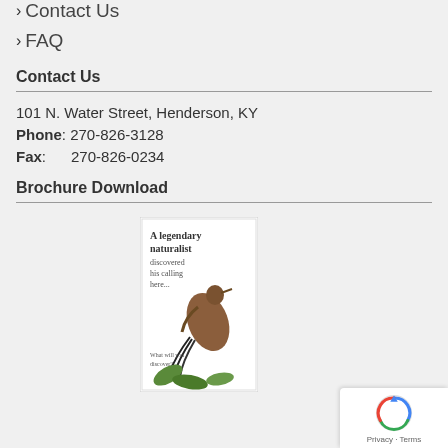Contact Us
FAQ
Contact Us
101 N. Water Street, Henderson, KY
Phone: 270-826-3128
Fax: 270-826-0234
Brochure Download
[Figure (illustration): Brochure thumbnail reading 'A legendary naturalist discovered his calling here... What will you discover?' with bird and plant imagery]